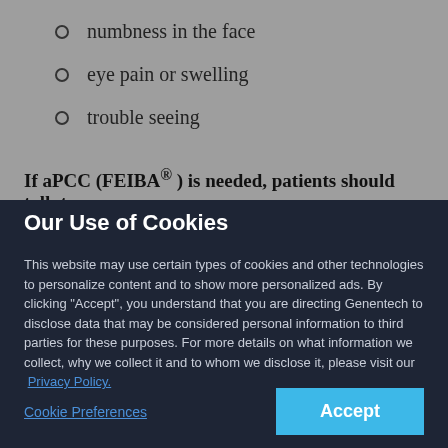numbness in the face
eye pain or swelling
trouble seeing
If aPCC (FEIBA® ) is needed, patients should talk to
Our Use of Cookies
This website may use certain types of cookies and other technologies to personalize content and to show more personalized ads. By clicking “Accept”, you understand that you are directing Genentech to disclose data that may be considered personal information to third parties for these purposes. For more details on what information we collect, why we collect it and to whom we disclose it, please visit our Privacy Policy.
Cookie Preferences
Accept